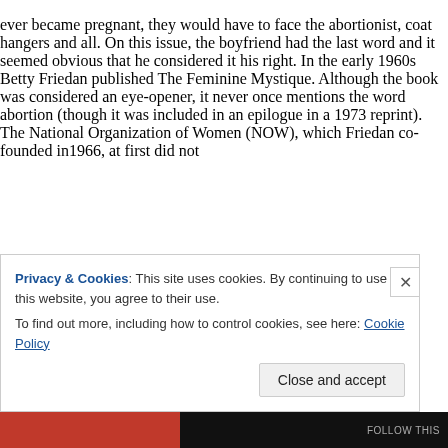ever became pregnant, they would have to face the abortionist, coat hangers and all. On this issue, the boyfriend had the last word and it seemed obvious that he considered it his right. In the early 1960s Betty Friedan published The Feminine Mystique. Although the book was considered an eye-opener, it never once mentions the word abortion (though it was included in an epilogue in a 1973 reprint). The National Organization of Women (NOW), which Friedan co-founded in1966, at first did not
Privacy & Cookies: This site uses cookies. By continuing to use this website, you agree to their use.
To find out more, including how to control cookies, see here: Cookie Policy